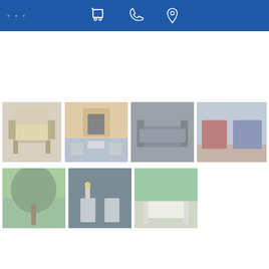Navigation header with cart, phone, and location icons
[Figure (photo): Outdoor lounge chair with tan cushion and wooden frame]
[Figure (photo): Outdoor patio furniture set with fireplace backdrop]
[Figure (photo): Modern outdoor sofa set on patio with dark furniture]
[Figure (photo): Indoor porch with red and blue cushioned seating]
[Figure (photo): Garden scene with trees and colorful patio furniture]
[Figure (photo): Night scene with white chairs on dark patio]
[Figure (photo): Tropical outdoor setting with white bench]